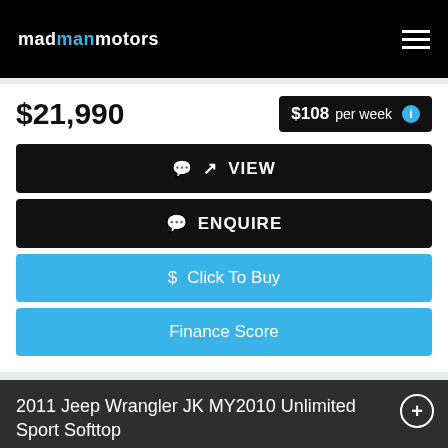madmanmotors
$21,990
$108 per week
VIEW
ENQUIRE
$ Click To Buy
Finance Score
2011 Jeep Wrangler JK MY2010 Unlimited Sport Softtop
[Figure (photo): Partial photo of a Jeep Wrangler vehicle in a dealership lot with 'MOR' text visible]